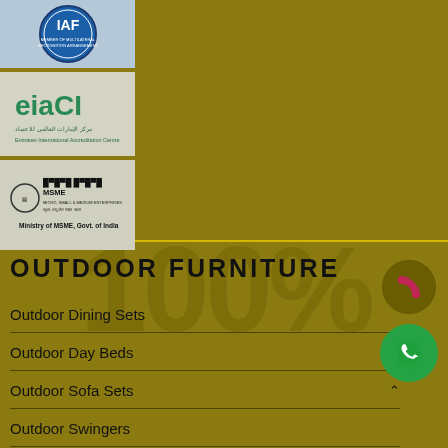[Figure (logo): IAF (International Accreditation Forum) Member of Multilateral Recognition Arrangement logo - circular blue badge]
[Figure (logo): EIAC - Emirates International Accreditation Centre logo with Arabic and English text]
[Figure (logo): MSME - Ministry of MSME, Govt. of India logo with Ashoka emblem]
OUTDOOR FURNITURE
Outdoor Dining Sets
Outdoor Day Beds
Outdoor Sofa Sets
Outdoor Swingers